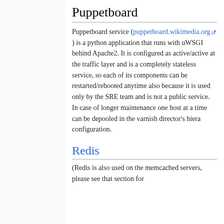Puppetboard
Puppetboard service (puppetboard.wikimedia.org) is a python application that runs with uWSGI behind Apache2. It is configured as active/active at the traffic layer and is a completely stateless service, so each of its components can be restarted/rebooted anytime also because it is used only by the SRE team and is not a public service. In case of longer maintenance one host at a time can be depooled in the varnish director's hiera configuration.
Redis
(Redis is also used on the memcached servers, please see that section for